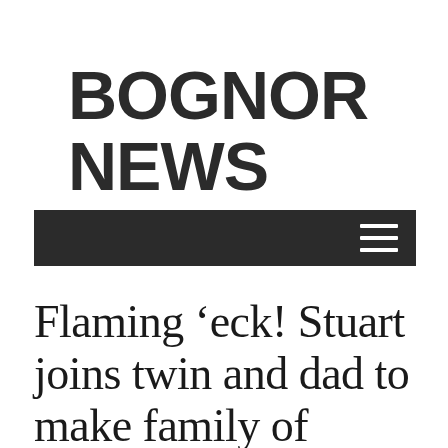BOGNOR NEWS
[Figure (other): Dark navigation bar with hamburger menu icon (three horizontal white lines) on the right side]
Flaming ‘eck! Stuart joins twin and dad to make family of firefighters (and